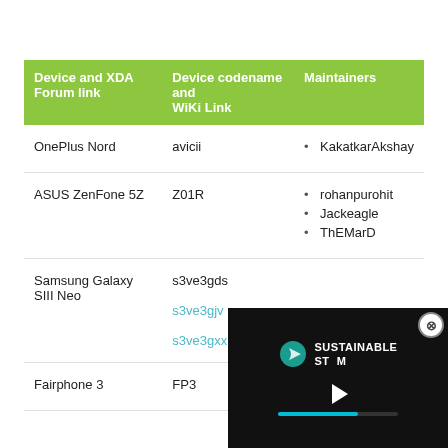| Device and XDA Forum link | Device codename and WiKi Link | Maintainers |
| --- | --- | --- |
| OnePlus Nord | avicii | KakatkarAkshay |
| ASUS ZenFone 5Z | Z01R | rohanpurohit
Jackeagle
ThEMarD |
| Samsung Galaxy SIII Neo | s3ve3gds
s3ve3gjv
s3ve3gxx |  |
| Fairphone 3 | FP3 | dk1978 |